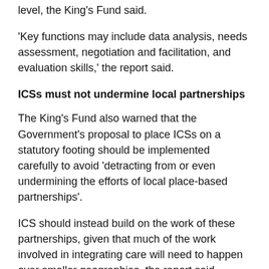level, the King's Fund said.
'Key functions may include data analysis, needs assessment, negotiation and facilitation, and evaluation skills,' the report said.
ICSs must not undermine local partnerships
The King's Fund also warned that the Government's proposal to place ICSs on a statutory footing should be implemented carefully to avoid 'detracting from or even undermining the efforts of local place-based partnerships'.
ICS should instead build on the work of these partnerships, given that much of the work involved in integrating care will need to happen over smaller geographies, the report said.
It added that 'some advanced systems have successfully nurtured an approach where the ICS is built up from its constituent places rather than functioning as a separate